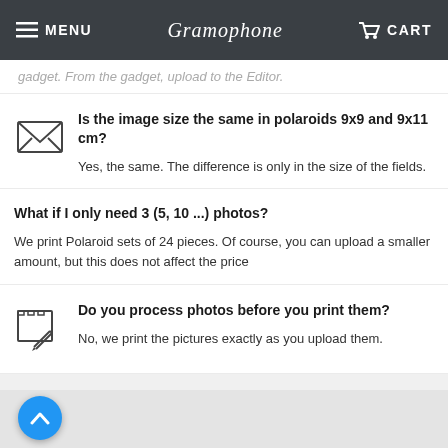MENU | Gramophone | CART
gadget. From the gadget, upload to the editor.
Is the image size the same in polaroids 9x9 and 9x11 cm?
Yes, the same. The difference is only in the size of the fields.
What if I only need 3 (5, 10 ...) photos?
We print Polaroid sets of 24 pieces. Of course, you can upload a smaller amount, but this does not affect the price
Do you process photos before you print them?
No, we print the pictures exactly as you upload them.